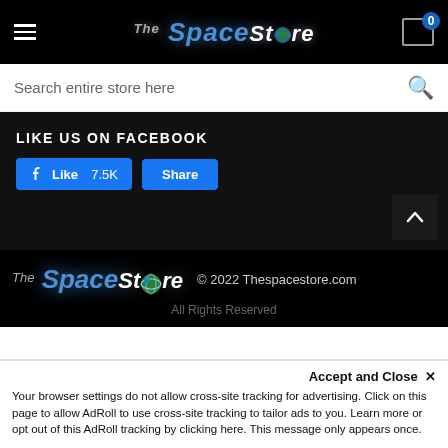The Space Store - header with hamburger menu, logo, cart icon (0)
Search entire store here
LIKE US ON FACEBOOK
Like 7.5K  Share
[Figure (screenshot): Back to top arrow button (dark background with white up-arrow chevron)]
[Figure (logo): The Space Store logo in footer]
© 2022 Thespacestore.com
All Rights Reserved
Accept and Close ✕
Your browser settings do not allow cross-site tracking for advertising. Click on this page to allow AdRoll to use cross-site tracking to tailor ads to you. Learn more or opt out of this AdRoll tracking by clicking here. This message only appears once.